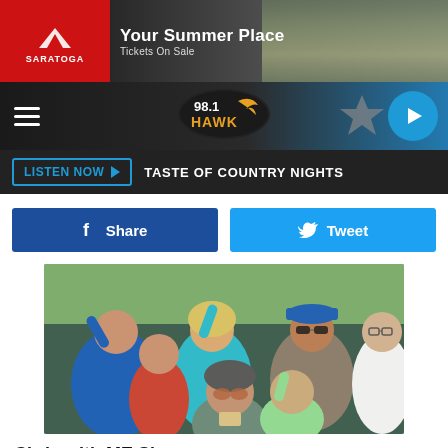[Figure (photo): Saratoga 'Your Summer Place - Tickets On Sale' advertisement banner at top of page]
98.1 The Hawk — LISTEN NOW ▶ TASTE OF COUNTRY NIGHTS
Share   Tweet
[Figure (photo): Crowd of concert-goers cheering and taking photos at an outdoor event]
Chris with ME Sign
[Figure (photo): Saratoga 'Your Summer Place - Tickets On Sale' advertisement banner at bottom of page]